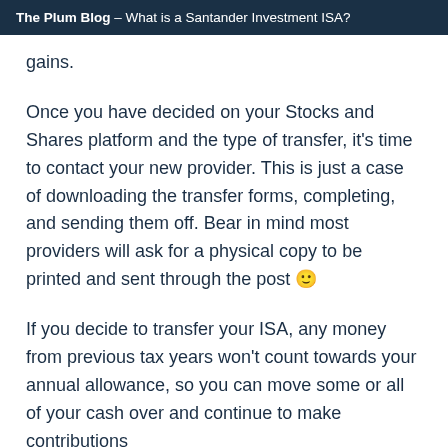The Plum Blog – What is a Santander Investment ISA?
gains.
Once you have decided on your Stocks and Shares platform and the type of transfer, it's time to contact your new provider. This is just a case of downloading the transfer forms, completing, and sending them off. Bear in mind most providers will ask for a physical copy to be printed and sent through the post 🙂
If you decide to transfer your ISA, any money from previous tax years won't count towards your annual allowance, so you can move some or all of your cash over and continue to make contributions